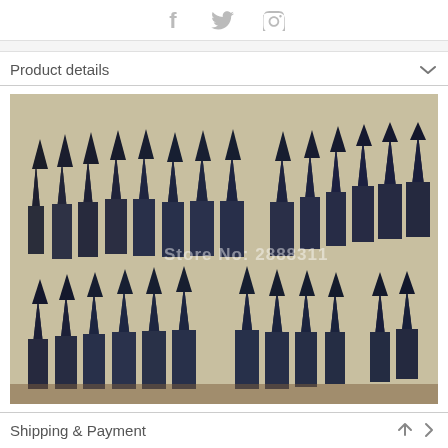f  (twitter)  (pinterest)
Product details
[Figure (photo): Multiple dark blue/black crystal obelisk tower stones arranged in two rows on a light foam or fabric surface. Watermark text reads 'Store No: 2888311'. The stones are polished and pointed at the top.]
Shipping & Payment